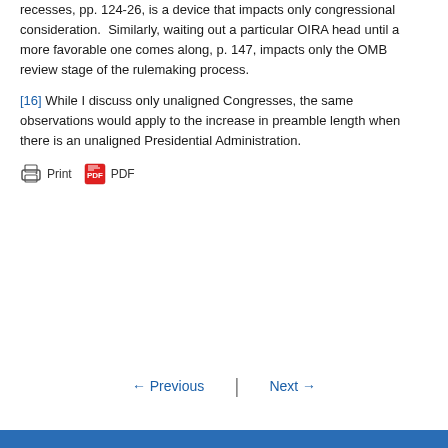recesses, pp. 124-26, is a device that impacts only congressional consideration. Similarly, waiting out a particular OIRA head until a more favorable one comes along, p. 147, impacts only the OMB review stage of the rulemaking process.
[16] While I discuss only unaligned Congresses, the same observations would apply to the increase in preamble length when there is an unaligned Presidential Administration.
Print  PDF
← Previous  |  Next →